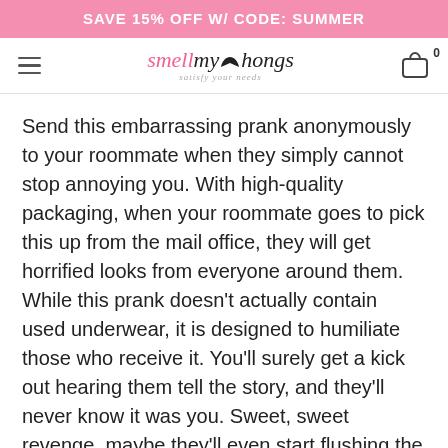SAVE 15% OFF W/ CODE: SUMMER
[Figure (logo): smellmythongs logo with tagline 'satisfy your needs' and hamburger menu and cart icon with 0 count]
Send this embarrassing prank anonymously to your roommate when they simply cannot stop annoying you. With high-quality packaging, when your roommate goes to pick this up from the mail office, they will get horrified looks from everyone around them. While this prank doesn't actually contain used underwear, it is designed to humiliate those who receive it. You'll surely get a kick out hearing them tell the story, and they'll never know it was you. Sweet, sweet revenge, maybe they'll even start flushing the toilet to get their